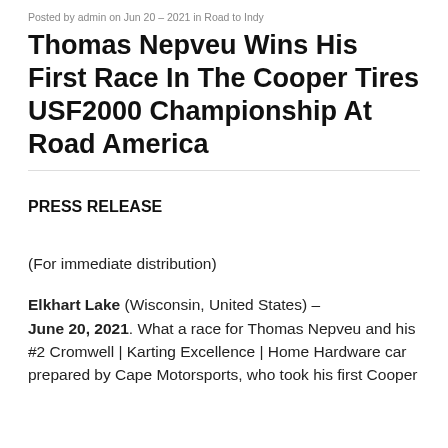Posted by admin on Jun 20 – 2021 in Road to Indy
Thomas Nepveu Wins His First Race In The Cooper Tires USF2000 Championship At Road America
PRESS RELEASE
(For immediate distribution)
Elkhart Lake (Wisconsin, United States) – June 20, 2021. What a race for Thomas Nepveu and his #2 Cromwell | Karting Excellence | Home Hardware car prepared by Cape Motorsports, who took his first Cooper